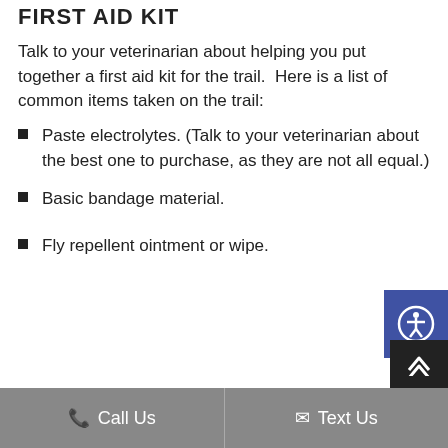FIRST AID KIT
Talk to your veterinarian about helping you put together a first aid kit for the trail.  Here is a list of common items taken on the trail:
Paste electrolytes. (Talk to your veterinarian about the best one to purchase, as they are not all equal.)
Basic bandage material.
Fly repellent ointment or wipe.
Call Us   Text Us